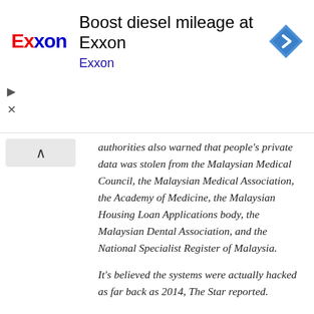[Figure (other): Exxon advertisement banner showing Exxon logo, text 'Boost diesel mileage at Exxon', 'Exxon' subtitle link in blue, and a blue diamond map direction icon. Ad controls (triangle play and X) visible on left side.]
authorities also warned that people's private data was stolen from the Malaysian Medical Council, the Malaysian Medical Association, the Academy of Medicine, the Malaysian Housing Loan Applications body, the Malaysian Dental Association, and the National Specialist Register of Malaysia.

It's believed the systems were actually hacked as far back as 2014, The Star reported.

Incredible as it may seem there's at least a couple of precedents for a huge chunk of the population of an entire country getting caught up in a database security breach.